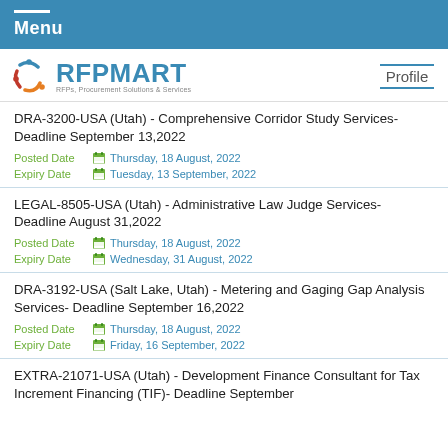Menu
[Figure (logo): RFPMART logo with tagline: RFPs, Procurement Solutions & Services]
Profile
DRA-3200-USA (Utah) - Comprehensive Corridor Study Services- Deadline September 13,2022
Posted Date   Thursday, 18 August, 2022
Expiry Date   Tuesday, 13 September, 2022
LEGAL-8505-USA (Utah) - Administrative Law Judge Services- Deadline August 31,2022
Posted Date   Thursday, 18 August, 2022
Expiry Date   Wednesday, 31 August, 2022
DRA-3192-USA (Salt Lake, Utah) - Metering and Gaging Gap Analysis Services- Deadline September 16,2022
Posted Date   Thursday, 18 August, 2022
Expiry Date   Friday, 16 September, 2022
EXTRA-21071-USA (Utah) - Development Finance Consultant for Tax Increment Financing (TIF)- Deadline September